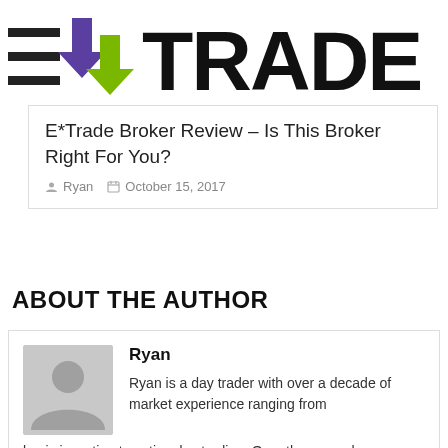[Figure (logo): E*TRADE logo with purple and green arrow icons and large bold black TRADE text]
E*Trade Broker Review – Is This Broker Right For You?
Ryan   October 15, 2017
ABOUT THE AUTHOR
[Figure (photo): Grey placeholder avatar silhouette icon for author Ryan]
Ryan
Ryan is a day trader with over a decade of market experience ranging from basic investing to active day trading. Over the years, he